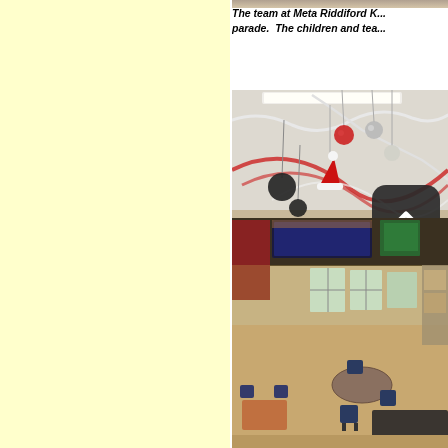[Figure (photo): Top portion of a photo showing decorations, partially cropped at top edge of page]
The team at Meta Riddiford K... parade.  The children and tea...
[Figure (photo): A decorated classroom interior with Christmas decorations hanging from the ceiling including garlands, ornaments, a Santa hat, and red streamers. Tables and chairs are visible on the floor. There is a dark overlay UI element (rounded square with chevron up arrow) overlaid on the top-right portion of the image.]